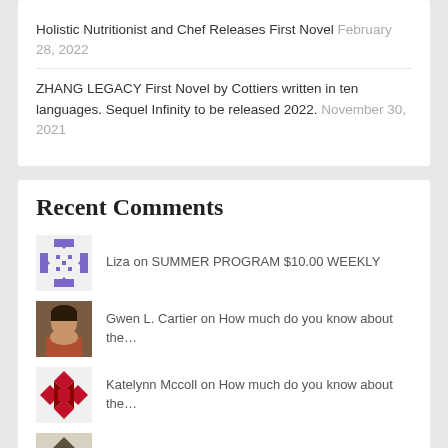Holistic Nutritionist and Chef Releases First Novel February 28, 2022
ZHANG LEGACY First Novel by Cottiers written in ten languages. Sequel Infinity to be released 2022. November 30, 2021
Recent Comments
Liza on SUMMER PROGRAM $10.00 WEEKLY
Gwen L. Cartier on How much do you know about the...
Katelynn Mccoll on How much do you know about the...